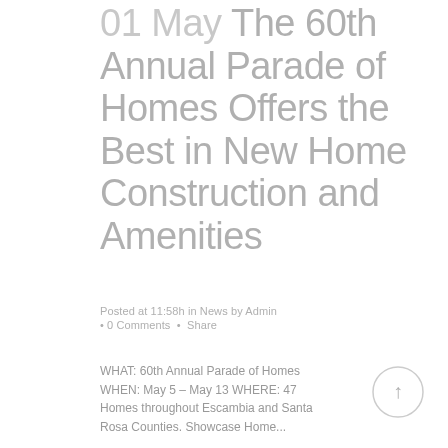01 May The 60th Annual Parade of Homes Offers the Best in New Home Construction and Amenities
Posted at 11:58h in News by Admin • 0 Comments • Share
WHAT: 60th Annual Parade of Homes WHEN: May 5 – May 13 WHERE: 47 Homes throughout Escambia and Santa Rosa Counties. Showcase Home...